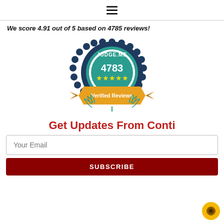☰ (hamburger menu icon)
We score 4.91 out of 5 based on 4785 reviews!
[Figure (logo): Judge.me Verified Reviews badge showing 4783 verified five-star reviews with laurel wreath decoration]
Get Updates From Conti
Your Email (input field placeholder)
SUBSCRIBE (button)